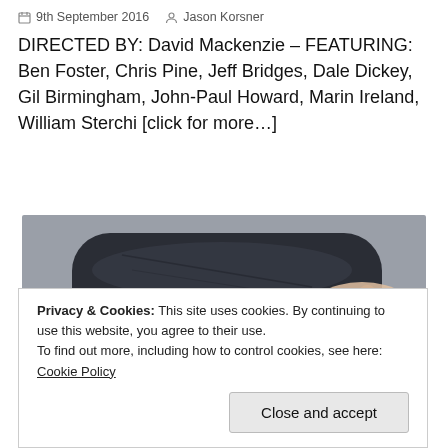9th September 2016  Jason Korsner
DIRECTED BY: David Mackenzie – FEATURING: Ben Foster, Chris Pine, Jeff Bridges, Dale Dickey, Gil Birmingham, John-Paul Howard, Marin Ireland, William Sterchi [click for more…]
[Figure (photo): Close-up photograph of a dark handheld device (appears to be a VR controller or remote) being held by a hand, against a light grey surface.]
Privacy & Cookies: This site uses cookies. By continuing to use this website, you agree to their use.
To find out more, including how to control cookies, see here: Cookie Policy

Close and accept